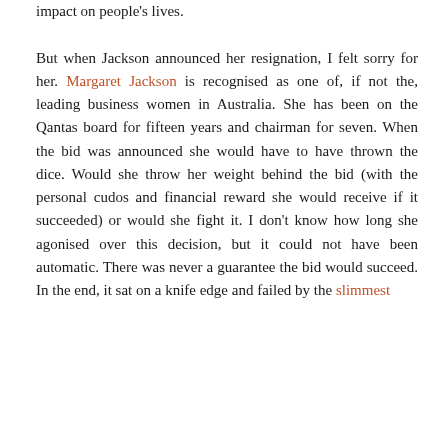impact on people's lives.

But when Jackson announced her resignation, I felt sorry for her. Margaret Jackson is recognised as one of, if not the, leading business women in Australia. She has been on the Qantas board for fifteen years and chairman for seven. When the bid was announced she would have to have thrown the dice. Would she throw her weight behind the bid (with the personal cudos and financial reward she would receive if it succeeded) or would she fight it. I don't know how long she agonised over this decision, but it could not have been automatic. There was never a guarantee the bid would succeed. In the end, it sat on a knife edge and failed by the slimmest